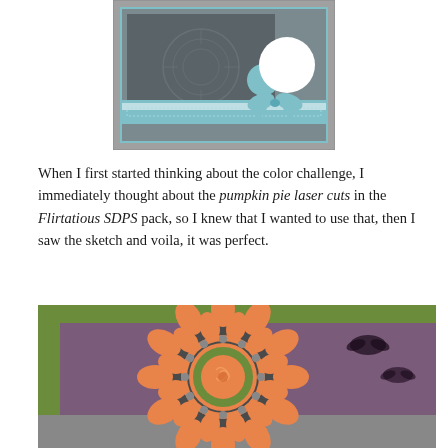[Figure (illustration): Greeting card craft illustration showing a grey and teal card with a decorative mandala pattern background, a teal bow/ribbon, a white circle, and a smaller teal circle on a layered card design.]
When I first started thinking about the color challenge, I immediately thought about the pumpkin pie laser cuts in the Flirtatious SDPS pack, so I knew that I wanted to use that, then I saw the sketch and voila, it was perfect.
[Figure (photo): Close-up photo of an orange pumpkin pie laser cut doily embellishment on a craft card, layered over a green circle and dark grey circle, on a purple and green patterned background with bat silhouettes.]